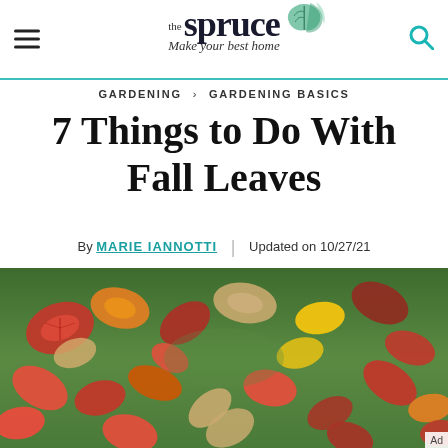the spruce — Make your best home
GARDENING > GARDENING BASICS
7 Things to Do With Fall Leaves
By MARIE IANNOTTI | Updated on 10/27/21
[Figure (photo): Fall leaves — red, orange, yellow, and tan maple leaves scattered across green grass, photographed from above at ground level.]